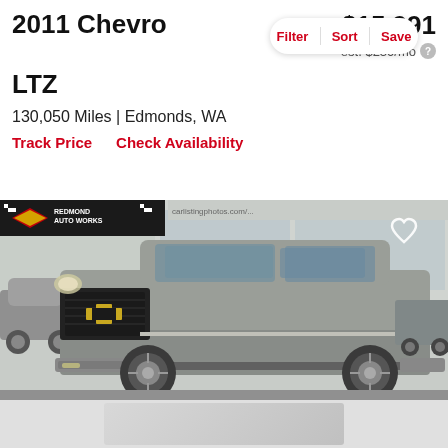2011 Chevrolet LTZ
$15,991
est. $230/mo
Filter | Sort | Save
130,050 Miles | Edmonds, WA
Track Price    Check Availability
[Figure (photo): 2011 Chevrolet Suburban LTZ in silver/gray color parked at a dealership lot. Front 3/4 view showing the Chevy bowtie logo on the grille. Dealership signage visible in background.]